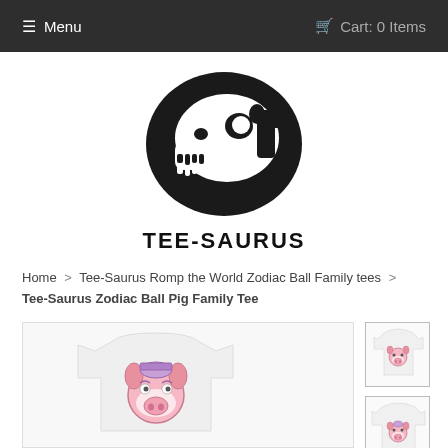Menu   Cart: 0 Items
[Figure (logo): Tee-Saurus dinosaur skull logo with text TEE-SAURUS below]
Home > Tee-Saurus Romp the World Zodiac Ball Family tees > Tee-Saurus Zodiac Ball Pig Family Tee
[Figure (photo): White women's t-shirt with a cute pig face (Zodiac Ball Pig) graphic on the front]
[Figure (photo): Thumbnail: white onesie with pig graphic]
[Figure (photo): Thumbnail: white t-shirt with pig graphic]